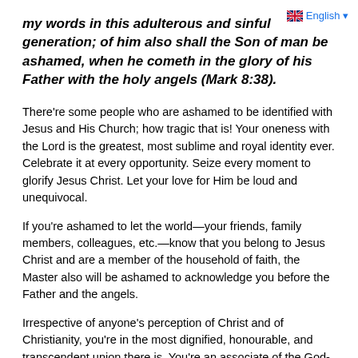[Figure (other): UK flag icon with English language selector label]
my words in this adulterous and sinful generation; of him also shall the Son of man be ashamed, when he cometh in the glory of his Father with the holy angels (Mark 8:38).
There're some people who are ashamed to be identified with Jesus and His Church; how tragic that is! Your oneness with the Lord is the greatest, most sublime and royal identity ever. Celebrate it at every opportunity. Seize every moment to glorify Jesus Christ. Let your love for Him be loud and unequivocal.
If you're ashamed to let the world—your friends, family members, colleagues, etc.—know that you belong to Jesus Christ and are a member of the household of faith, the Master also will be ashamed to acknowledge you before the Father and the angels.
Irrespective of anyone's perception of Christ and of Christianity, you're in the most dignified, honourable, and transcendent union there is. You're an associate of the God-kind, a God-carrying vessel